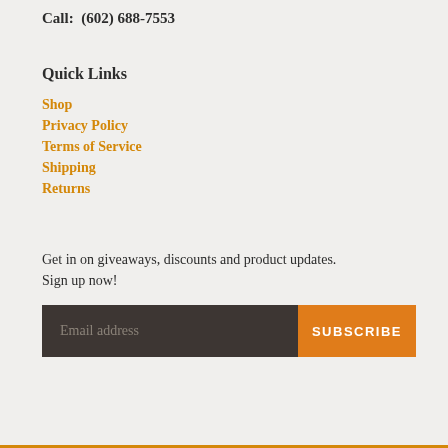Call:  (602) 688-7553
Quick Links
Shop
Privacy Policy
Terms of Service
Shipping
Returns
Get in on giveaways, discounts and product updates. Sign up now!
Email address  SUBSCRIBE